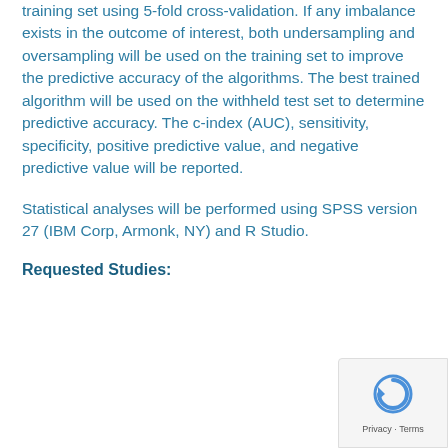training set using 5-fold cross-validation. If any imbalance exists in the outcome of interest, both undersampling and oversampling will be used on the training set to improve the predictive accuracy of the algorithms. The best trained algorithm will be used on the withheld test set to determine predictive accuracy. The c-index (AUC), sensitivity, specificity, positive predictive value, and negative predictive value will be reported.
Statistical analyses will be performed using SPSS version 27 (IBM Corp, Armonk, NY) and R Studio.
Requested Studies: